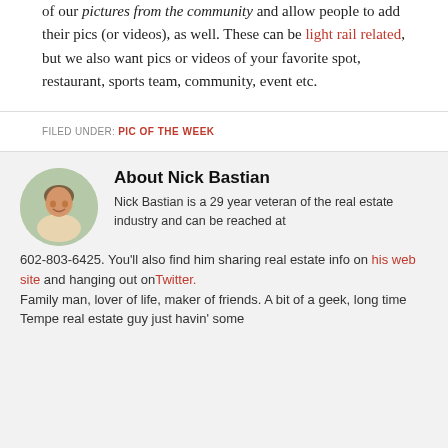of our pictures from the community and allow people to add their pics (or videos), as well. These can be light rail related, but we also want pics or videos of your favorite spot, restaurant, sports team, community, event etc.
FILED UNDER: PIC OF THE WEEK
About Nick Bastian
Nick Bastian is a 29 year veteran of the real estate industry and can be reached at 602-803-6425. You'll also find him sharing real estate info on his web site and hanging out on Twitter. Family man, lover of life, maker of friends. A bit of a geek, long time Tempe real estate guy just havin' some